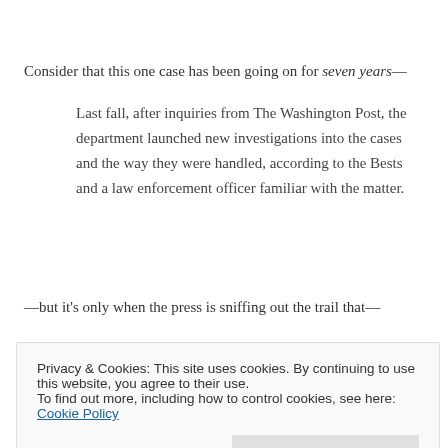Consider that this one case has been going on for seven years—
Last fall, after inquiries from The Washington Post, the department launched new investigations into the cases and the way they were handled, according to the Bests and a law enforcement officer familiar with the matter.
—but it's only when the press is sniffing out the trail that—
The Bests say that after The Post approached the police, [DC Police Chief Cathy L.] Lanier telephoned the family to apologize.
Privacy & Cookies: This site uses cookies. By continuing to use this website, you agree to their use.
To find out more, including how to control cookies, see here: Cookie Policy
but then dances away in shame because, really, are we really going to dredge